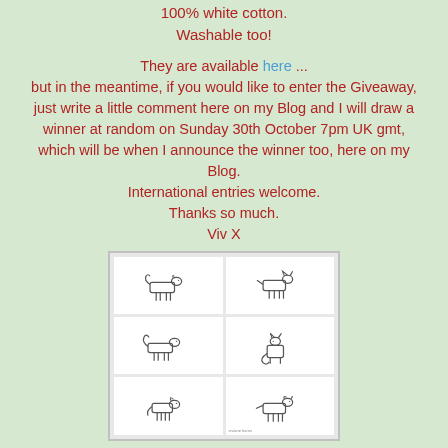100% white cotton.
Washable too!
They are available here ...
but in the meantime, if you would like to enter the Giveaway, just write a little comment here on my Blog and I will draw a winner at random on Sunday 30th October 7pm UK gmt, which will be when I announce the winner too, here on my Blog.
International entries welcome.
Thanks so much.
Viv X
[Figure (photo): Six white greeting cards arranged in a 2x3 grid, each featuring a simple line drawing of a different animal (dogs and cats in various poses).]